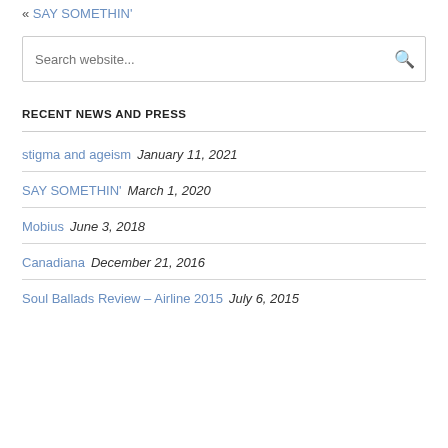« SAY SOMETHIN'
Search website...
RECENT NEWS AND PRESS
stigma and ageism  January 11, 2021
SAY SOMETHIN'  March 1, 2020
Mobius  June 3, 2018
Canadiana  December 21, 2016
Soul Ballads Review – Airline 2015  July 6, 2015